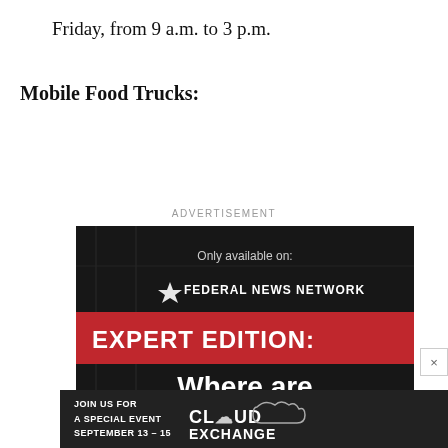Friday, from 9 a.m. to 3 p.m.
Mobile Food Trucks:
ADVERTISEMENT
[Figure (other): Advertisement for Federal News Network Expert Edition podcast/show titled 'Where are...' with a secondary banner for Cloud Exchange event September 13-15]